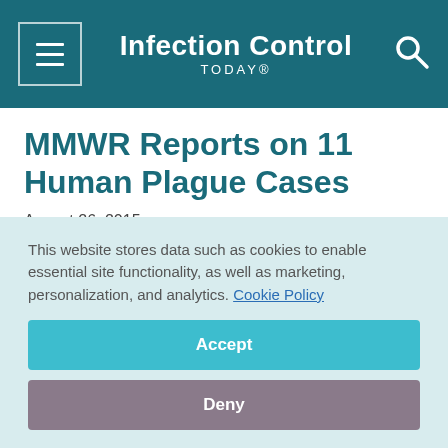Infection Control TODAY®
MMWR Reports on 11 Human Plague Cases
August 26, 2015
[Figure (infographic): Social share buttons: Facebook, Twitter, LinkedIn, Pinterest, Email]
This website stores data such as cookies to enable essential site functionality, as well as marketing, personalization, and analytics. Cookie Policy
Accept
Deny